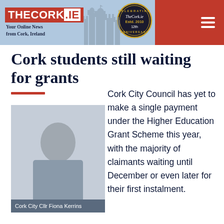THECORK.IE — Your Online News from Cork, Ireland
Cork students still waiting for grants
[Figure (photo): Photo of Cork City Cllr Fiona Kerrins with a caption overlay at the bottom]
Cork City Cllr Fiona Kerrins
Cork City Council has yet to make a single payment under the Higher Education Grant Scheme this year, with the majority of claimants waiting until December or even later for their first instalment.